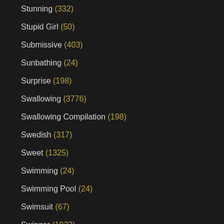Stunning (332)
Stupid Girl (50)
Submissive (403)
Sunbathing (24)
Surprise (198)
Swallowing (3776)
Swallowing Compilation (198)
Swedish (317)
Sweet (1325)
Swimming (24)
Swimming Pool (24)
Swimsuit (67)
Swinger (1923)
Swollen Pussy (8)
Sybian (53)
T-girl (302)